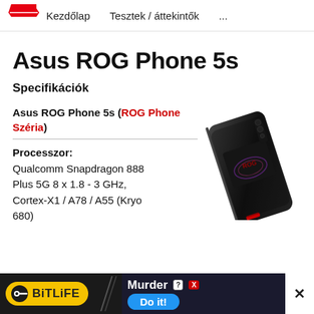Kezdőlap   Tesztek / áttekintők   ...
Asus ROG Phone 5s
Specifikációk
Asus ROG Phone 5s (ROG Phone Széria)
Processzor: Qualcomm Snapdragon 888 Plus 5G 8 x 1.8 - 3 GHz, Cortex-X1 / A78 / A55 (Kryo 680)
[Figure (photo): Photo of Asus ROG Phone 5s showing back of device with ROG logo illuminated, black color, diagonal orientation]
BitLife Murder Do it! (advertisement)